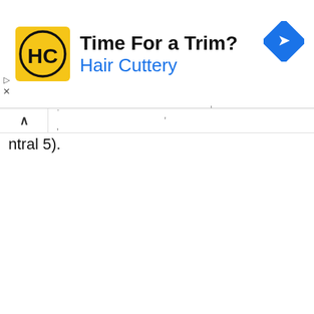[Figure (screenshot): Hair Cuttery advertisement banner with yellow HC logo, text 'Time For a Trim?' and 'Hair Cuttery' in blue, and a blue diamond navigation icon on the right]
ntral 5).